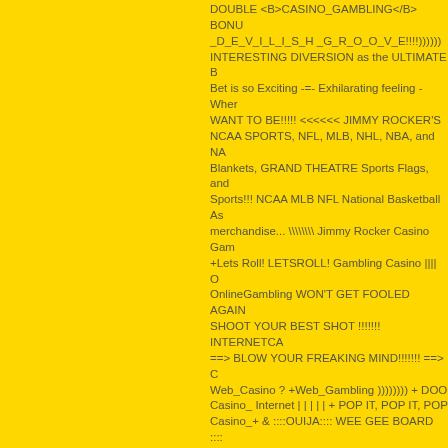DOUBLE <B>CASINO_GAMBLING</B> BONUS _D_E_V_I_L_I_S_H _G_R_O_O_V_E!!!!))))))\ INTERESTING DIVERSION as the ULTIMATE Bet is so Exciting -=- Exhilarating feeling - Where WANT TO BE!!!!! <<<<<< JIMMY ROCKER'S NCAA SPORTS, NFL, MLB, NHL, NBA, and NA Blankets, GRAND THEATRE Sports Flags, and Sports!!! NCAA MLB NFL National Basketball As merchandise... \\\\ Jimmy Rocker Casino Gam +Lets Roll! LETSROLL! Gambling Casino |||| O OnlineGambling WON'T GET FOOLED AGAIN SHOOT YOUR BEST SHOT !!!!!!! INTERNETCA ==> BLOW YOUR FREAKING MIND!!!!!!! ==> C Web_Casino ? +Web_Gambling )))))))) + DOO Casino_ Internet | | | | | + POP IT, POP IT, POP Casino_+ & ::::OUIJA:::: WEE GEE BOARD :::: +_Casino STRANGE WEIRDO +_Web +_Gamb >>>>>> Casino + _Web _Gambling = +_Intern RocKeR AcTioN BLaSteR < < < <_Casino 2B=H /////Casino///// :::::::::::: Off Shore Gambling _ :::::: Site BWeb_Gambling )))))))))))))  . GAMBLE & GA WebMALL((((((  JIMMY (( _BigCasino+ -{Big Wi URL ADD YOUR URL +ADD YOUR URL (((((((  CLASSIFIED ADS//////// Internet _Betting _Casi Web ++Betting &Sites &Winning _12345678910 Casino==Gambling /// Sexbabe Casino&Gambli ...Big &Gamble... _Big _Play _Casino & / / / / P Care About Anything Else! <Jimmy Rocker> _C FREAKING MIND!!! ==>House-Edge<== Even Gambling , //////Gambling, \\Gambling, |||||Gam